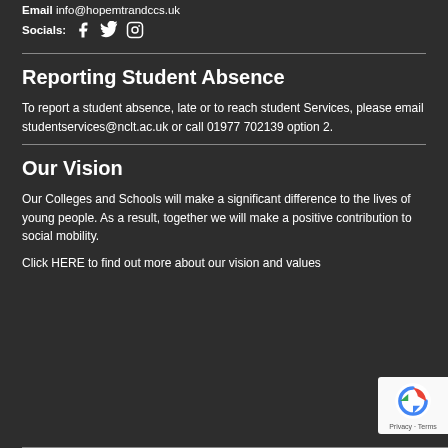Email info@hopemtrandccs.uk
Socials: [facebook] [twitter] [instagram]
Reporting Student Absence
To report a student absence, late or to reach student Services, please email studentservices@nclt.ac.uk or call 01977 702139 option 2.
Our Vision
Our Colleges and Schools will make a significant difference to the lives of young people. As a result, together we will make a positive contribution to social mobility.
Click HERE to find out more about our vision and values